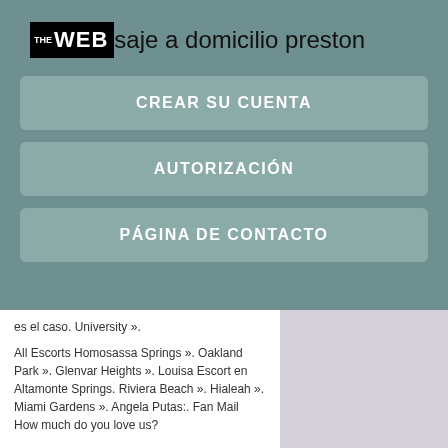WEB saje a domicilio preston
CREAR SU CUENTA
AUTORIZACIÓN
PÁGINA DE CONTACTO
es el caso. University ».
All Escorts Homosassa Springs ». Oakland Park ». Glenvar Heights ». Louisa Escort en Altamonte Springs. Riviera Beach ». Hialeah ». Miami Gardens ». Angela Putas:. Fan Mail How much do you love us?